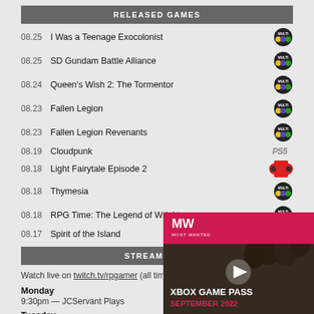RELEASED GAMES
08.25  I Was a Teenage Exocolonist  MULTI
08.25  SD Gundam Battle Alliance  MULTI
08.24  Queen's Wish 2: The Tormentor  MULTI
08.23  Fallen Legion  MULTI
08.23  Fallen Legion Revenants  MULTI
08.19  Cloudpunk  PS5
08.18  Light Fairytale Episode 2  Nintendo Switch
08.18  Thymesia  MULTI
08.18  RPG Time: The Legend of Wright  MULTI
08.17  Spirit of the Island
STREAMING S...
Watch live on twitch.tv/rpgamer (all times Eas...
Monday
9:30pm — JCServant Plays
Tuesday
11am — TAM in the AM
[Figure (screenshot): Xbox Game Pass September 2022 video ad overlay with MW logo, soldiers background, play button, and close button]